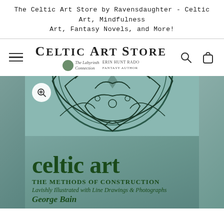The Celtic Art Store by Ravensdaughter - Celtic Art, Mindfulness Art, Fantasy Novels, and More!
[Figure (logo): Celtic Art Store logo with 'The Labyrinth Connection' and 'Erin Hunt Rado Fantasy Author' sub-logos]
[Figure (photo): Book cover of 'celtic art: The Methods of Construction, Lavishly Illustrated with Line Drawings & Photographs by George Bain' with teal/green background and Celtic knotwork circular design at top]